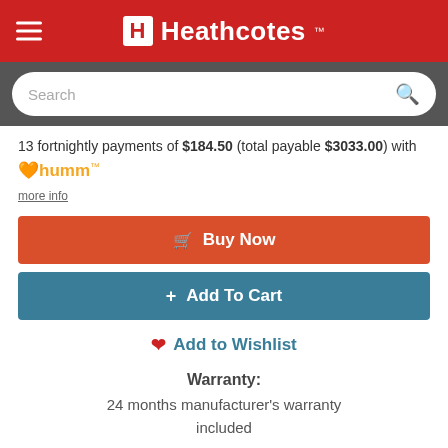[Figure (screenshot): Heathcotes website header with red background, hamburger menu icon, H logo box and Heathcotes brand name in white]
[Figure (screenshot): Search bar on dark grey background with magnifying glass icon]
13 fortnightly payments of $184.50 (total payable $3033.00) with humm
more info
Buy Now
Add To Cart
Add to Wishlist
Warranty: 24 months manufacturer's warranty included
Total warranty: 24 months